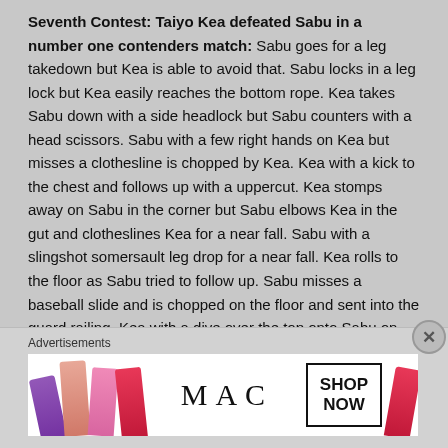Seventh Contest: Taiyo Kea defeated Sabu in a number one contenders match: Sabu goes for a leg takedown but Kea is able to avoid that. Sabu locks in a leg lock but Kea easily reaches the bottom rope. Kea takes Sabu down with a side headlock but Sabu counters with a head scissors. Sabu with a few right hands on Kea but misses a clothesline is chopped by Kea. Kea with a kick to the chest and follows up with a uppercut. Kea stomps away on Sabu in the corner but Sabu elbows Kea in the gut and clotheslines Kea for a near fall. Sabu with a slingshot somersault leg drop for a near fall. Kea rolls to the floor as Sabu tried to follow up. Sabu misses a baseball slide and is chopped on the floor and sent into the guard railing. Kea with a dive over the top onto Sabu on the floor! Kea back elbows Sabu in the face and covers him for a near fall. Kea scoop slams Sabu and locks in the sharpshooter! Bill Alfonso drags Sabu towards the ropes and Sabu is able to reach the rope. Kea throws Sabu to the floor and misses a slingshot dive landing badly on his left knee. Sabu sends Kea into the guard railing and sends Kea into the crowd. Sabu asks for a chair and eventually gets one. Sabu with a springboard dive onto Kea in the crowd! Sabu sets up a table on
Advertisements
[Figure (photo): MAC cosmetics advertisement banner showing lipsticks on the left, MAC logo in the center, and a SHOP NOW button on the right]